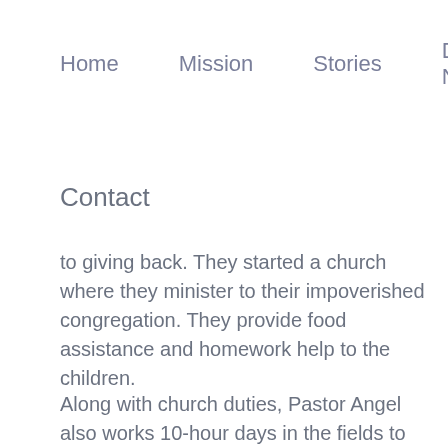Home   Mission   Stories   Donate Now
Contact
to giving back. They started a church where they minister to their impoverished congregation. They provide food assistance and homework help to the children.
Along with church duties, Pastor Angel also works 10-hour days in the fields to feed his own family. When COVID hit, Pastor Angel lost his job. He was unable to pay the rent